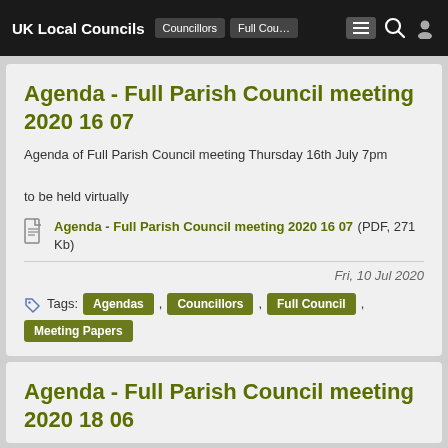UK Local Councils — Agendas, Councillors, Full Council [navigation]
Agenda - Full Parish Council meeting 2020 16 07
Agenda of Full Parish Council meeting Thursday 16th July 7pm to be held virtually
Agenda - Full Parish Council meeting 2020 16 07 (PDF, 271 Kb)
Fri, 10 Jul 2020
Tags: Agendas , Councillors , Full Council , Meeting Papers
Agenda - Full Parish Council meeting 2020 18 06